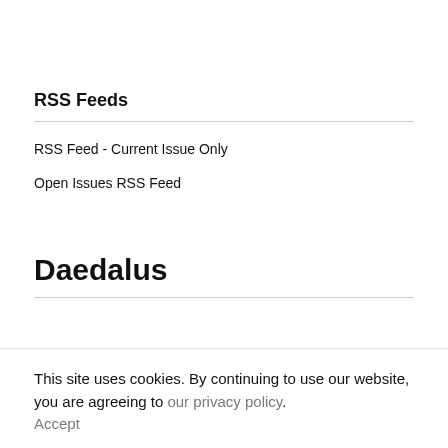RSS Feeds
RSS Feed - Current Issue Only
Open Issues RSS Feed
Daedalus
This site uses cookies. By continuing to use our website, you are agreeing to our privacy policy. Accept